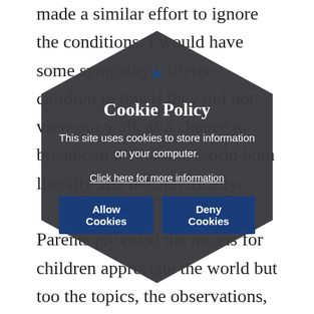made a similar effort to ignore the conditions. I would have some sympathy with the children in tow if they did not view our walk as a chance to breathe in the natural world both literally and metaphorically. Parents provide the means for children to appreciate the world but too the topics, the observations, the advice is a constant reminder that the world is the world. And yet there is hope here. Without such moments, the ability to observe and to value critically the world can be lost. We can help children in this process by modelling the surprise of a shared moment. It could be by directing a child's attention to lambs
[Figure (other): Cookie policy hexagonal modal overlay with dark grey background. Contains a close button (×), title 'Cookie Policy', body text 'This site uses cookies to store information on your computer.', a 'Click here for more information' link, and two buttons: 'Allow Cookies' and 'Deny Cookies'.]